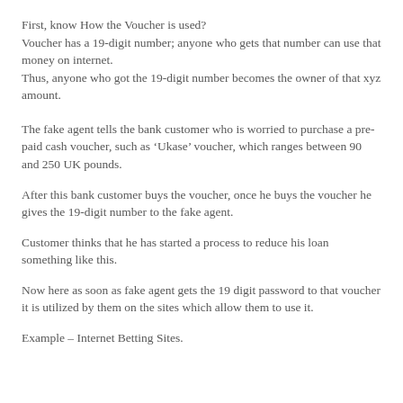First, know How the Voucher is used?
Voucher has a 19-digit number; anyone who gets that number can use that money on internet.
Thus, anyone who got the 19-digit number becomes the owner of that xyz amount.
The fake agent tells the bank customer who is worried to purchase a pre-paid cash voucher, such as ‘Ukase’ voucher, which ranges between 90 and 250 UK pounds.
After this bank customer buys the voucher, once he buys the voucher he gives the 19-digit number to the fake agent.
Customer thinks that he has started a process to reduce his loan something like this.
Now here as soon as fake agent gets the 19 digit password to that voucher it is utilized by them on the sites which allow them to use it.
Example – Internet Betting Sites.